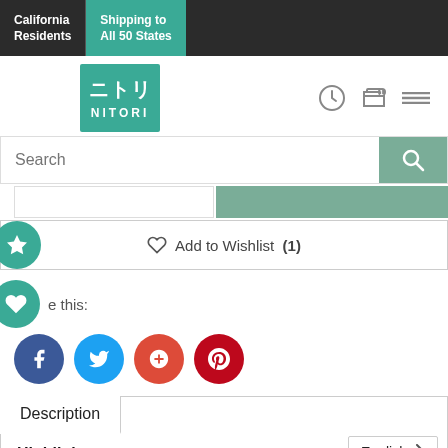California Residents | Shipping to All 50 States
[Figure (logo): Nitori logo - teal square with Japanese characters and NITORI text]
Search
Add to Wishlist (1)
e this:
Description
English
Highlights: